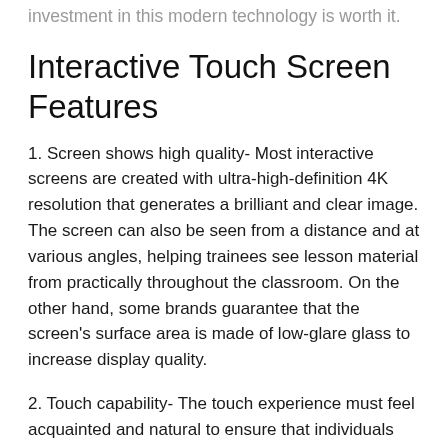investment in this modern technology is worth it.
Interactive Touch Screen Features
1. Screen shows high quality- Most interactive screens are created with ultra-high-definition 4K resolution that generates a brilliant and clear image. The screen can also be seen from a distance and at various angles, helping trainees see lesson material from practically throughout the classroom. On the other hand, some brands guarantee that the screen's surface area is made of low-glare glass to increase display quality.
2. Touch capability- The touch experience must feel acquainted and natural to ensure that individuals can highlight, annotate, relocate things on the screen, and interact with the board.